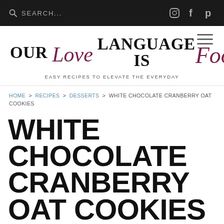SEARCH... [Instagram] [Facebook] [Pinterest]
[Figure (logo): OUR Love LANGUAGE IS Food logo with script styling and tagline EASY RECIPES TO ELEVATE THE EVERYDAY]
HOME > RECIPES > DESSERTS > WHITE CHOCOLATE CRANBERRY OAT COOKIES
WHITE CHOCOLATE CRANBERRY OAT COOKIES